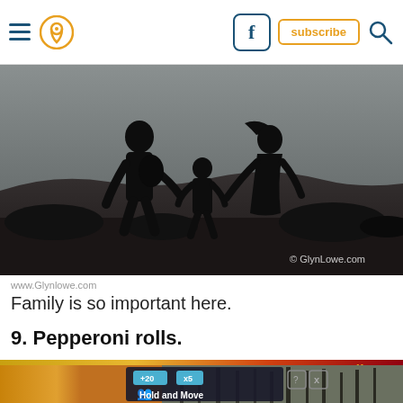Navigation bar with hamburger menu, location pin icon, Facebook button, subscribe button, search icon
[Figure (photo): Black and white silhouette photo of three people (two adults and a child) holding hands running in a field at dusk. Watermark: © GlynLowe.com]
www.GlynLowe.com
Family is so important here.
9. Pepperoni rolls.
[Figure (screenshot): Advertisement banner showing a game called Hold and Move with outdoor/nature background. Contains close (X) and question mark (?) buttons.]